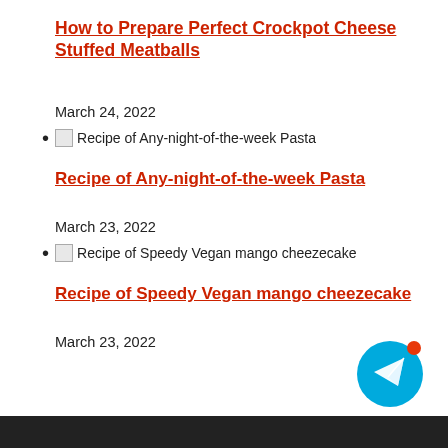How to Prepare Perfect Crockpot Cheese Stuffed Meatballs
March 24, 2022
Recipe of Any-night-of-the-week Pasta
Recipe of Any-night-of-the-week Pasta
March 23, 2022
Recipe of Speedy Vegan mango cheezecake
Recipe of Speedy Vegan mango cheezecake
March 23, 2022
[Figure (illustration): Telegram messenger floating action button with notification dot]